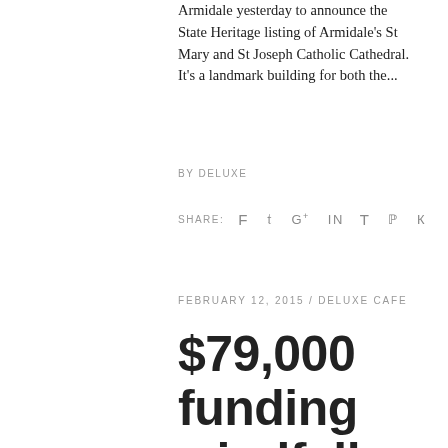Armidale yesterday to announce the State Heritage listing of Armidale's St Mary and St Joseph Catholic Cathedral. It's a landmark building for both the...
BY DELUXE
SHARE:  f  t  g+  in  t  p  vk
FEBRUARY 12, 2015 / DELUXE CAFE
$79,000 funding windfall for Arts North-West/ $30,000 Art and technology Fell...